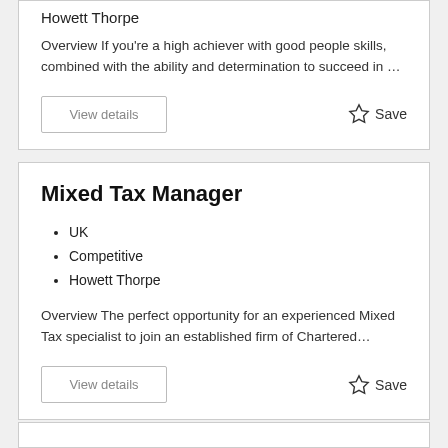Howett Thorpe
Overview If you're a high achiever with good people skills, combined with the ability and determination to succeed in …
View details
Save
Mixed Tax Manager
UK
Competitive
Howett Thorpe
Overview The perfect opportunity for an experienced Mixed Tax specialist to join an established firm of Chartered…
View details
Save